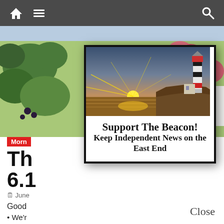Navigation bar with home icon, menu icon, and search icon
[Figure (photo): Floral background with green leaves and red/pink flowers]
Morn
Th 6.1
June
Good
• We'r
[Figure (photo): Modal popup with lighthouse at sunset image and text 'Support The Beacon! Keep Independent News on the East End']
Close